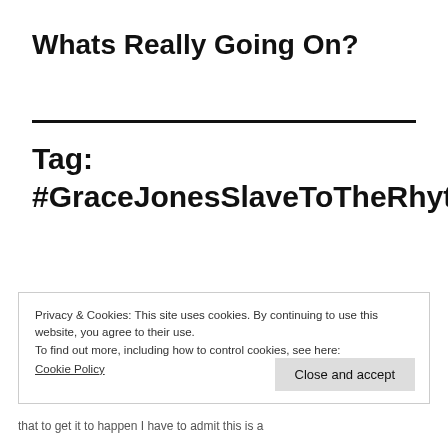Whats Really Going On?
Tag: #GraceJonesSlaveToTheRhythm
Privacy & Cookies: This site uses cookies. By continuing to use this website, you agree to their use.
To find out more, including how to control cookies, see here:
Cookie Policy
Close and accept
that to get it to happen I have to admit this is a